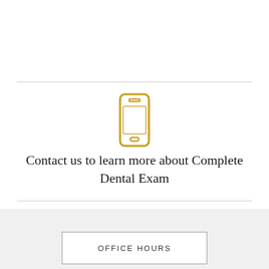[Figure (illustration): Gold/yellow outlined smartphone icon centered on the page]
Contact us to learn more about Complete Dental Exam
OFFICE HOURS